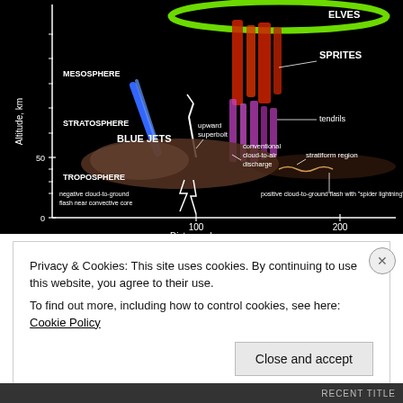[Figure (infographic): Scientific diagram showing atmospheric electrical phenomena (ELVES, SPRITES, Blue Jets, upward superbolts) above a thunderstorm cloud, with altitude axis (km) on left, distance axis (km) on bottom, and labels for MESOSPHERE, STRATOSPHERE, TROPOSPHERE, tendrils, conventional cloud-to-air discharge, stratiform region, negative cloud-to-ground flash near convective core, positive cloud-to-ground flash with spider lightning. Adapted from Carlos Miralles (AeroVironment) and Tom Nelson (FMA).]
Privacy & Cookies: This site uses cookies. By continuing to use this website, you agree to their use.
To find out more, including how to control cookies, see here: Cookie Policy
Close and accept
RECENT TITLE